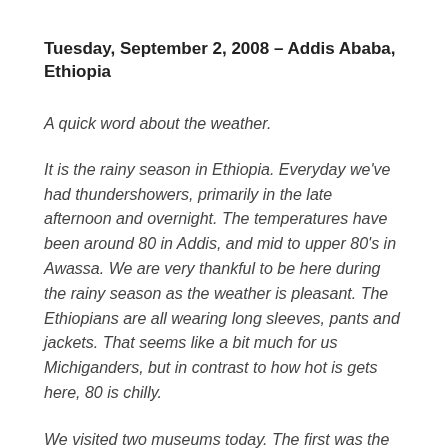Tuesday, September 2, 2008 – Addis Ababa, Ethiopia
A quick word about the weather.
It is the rainy season in Ethiopia. Everyday we've had thundershowers, primarily in the late afternoon and overnight. The temperatures have been around 80 in Addis, and mid to upper 80's in Awassa. We are very thankful to be here during the rainy season as the weather is pleasant. The Ethiopians are all wearing long sleeves, pants and jackets. That seems like a bit much for us Michiganders, but in contrast to how hot is gets here, 80 is chilly.
We visited two museums today. The first was the Ethiopian National Museum. The second was at...